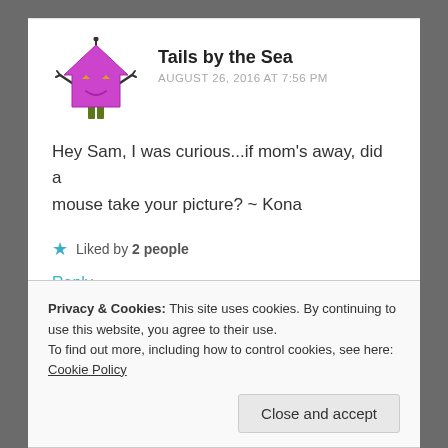[Figure (illustration): Purple cartoon character shaped like a house/arrow pointing up with arms, legs, eyes, and a smiling face — a blog avatar]
Tails by the Sea
AUGUST 26, 2016 AT 7:56 PM
Hey Sam, I was curious...if mom's away, did a mouse take your picture? ~ Kona
★ Liked by 2 people
Reply
Privacy & Cookies: This site uses cookies. By continuing to use this website, you agree to their use.
To find out more, including how to control cookies, see here: Cookie Policy
Close and accept